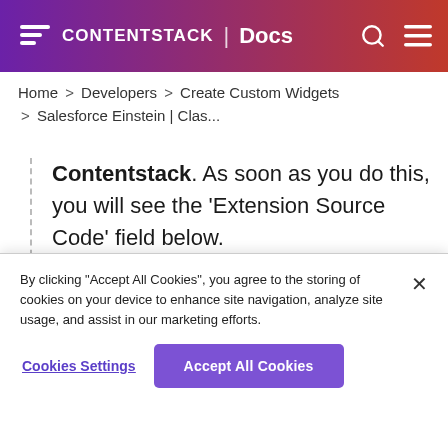CONTENTSTACK | Docs
Home > Developers > Create Custom Widgets > Salesforce Einstein | Clas...
Contentstack. As soon as you do this, you will see the ‘Extension Source Code’ field below.
By clicking “Accept All Cookies”, you agree to the storing of cookies on your device to enhance site navigation, analyze site usage, and assist in our marketing efforts.
Cookies Settings
Accept All Cookies